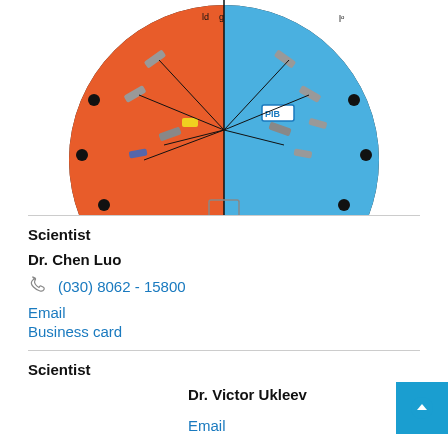[Figure (engineering-diagram): Circular cross-section diagram of a scientific instrument (likely a particle detector or tunnel boring machine), showing orange and blue halves with various internal components, connectors, and labels including 'PIB'.]
Scientist
Dr. Chen Luo
(030) 8062 - 15800
Email
Business card
Scientist
Dr. Victor Ukleev
Email